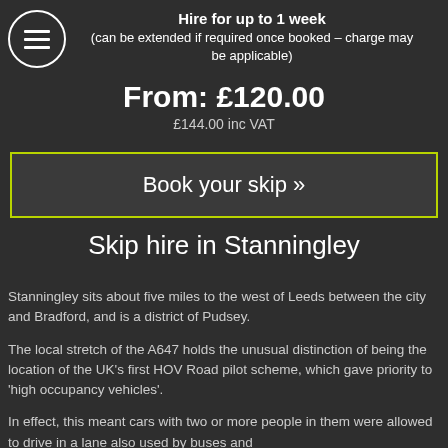Hire for up to 1 week (can be extended if required once booked – charge may be applicable)
From: £120.00
£144.00 inc VAT
Book your skip »
Skip hire in Stanningley
Stanningley sits about five miles to the west of Leeds between the city and Bradford, and is a district of Pudsey.
The local stretch of the A647 holds the unusual distinction of being the location of the UK's first HOV Road pilot scheme, which gave priority to 'high occupancy vehicles'.
In effect, this meant cars with two or more people in them were allowed to drive in a lane also used by buses and